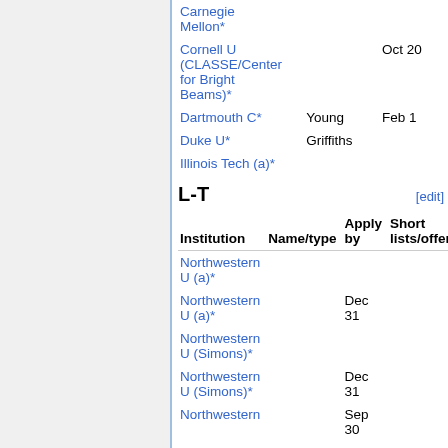| Institution | Name/type | Apply by | Short lists/offers |
| --- | --- | --- | --- |
| Carnegie Mellon* |  |  |  |
| Cornell U (CLASSE/Center for Bright Beams)* |  | Oct 20 |  |
| Dartmouth C* | Young | Feb 1 |  |
| Duke U* | Griffiths |  |  |
| Illinois Tech (a)* |  |  |  |
L-T
| Institution | Name/type | Apply by | Short lists/offers |
| --- | --- | --- | --- |
| Northwestern U (a)* |  |  |  |
| Northwestern U (a)* |  | Dec 31 |  |
| Northwestern U (Simons)* |  |  |  |
| Northwestern U (Simons)* |  | Dec 31 |  |
| Northwestern |  | Sep 30 |  |